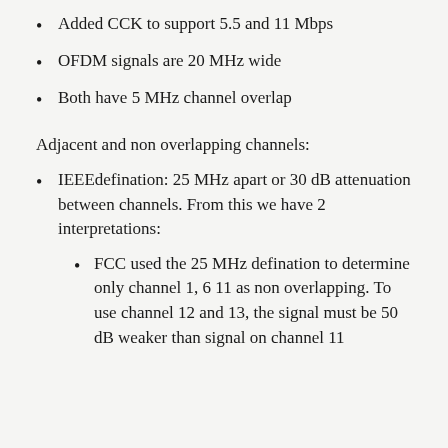Added CCK to support 5.5 and 11 Mbps
OFDM signals are 20 MHz wide
Both have 5 MHz channel overlap
Adjacent and non overlapping channels:
IEEEdefination: 25 MHz apart or 30 dB attenuation between channels. From this we have 2 interpretations:
FCC used the 25 MHz defination to determine only channel 1, 6 11 as non overlapping. To use channel 12 and 13, the signal must be 50 dB weaker than signal on channel 11